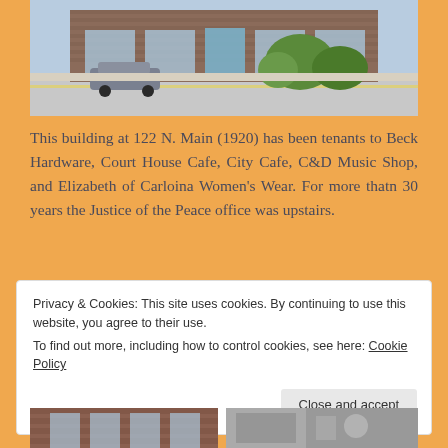[Figure (photo): Street-level photo of a brick commercial building at 122 N. Main with storefronts, a car parked on the street, and trees/shrubs visible.]
This building at 122 N. Main (1920) has been tenants to Beck Hardware, Court House Cafe, City Cafe, C&D Music Shop, and Elizabeth of Carloina Women's Wear. For more thatn 30 years the Justice of the Peace office was upstairs.
Privacy & Cookies: This site uses cookies. By continuing to use this website, you agree to their use.
To find out more, including how to control cookies, see here: Cookie Policy
[Figure (photo): Two partial thumbnail photos at the bottom of the page showing brick building details.]